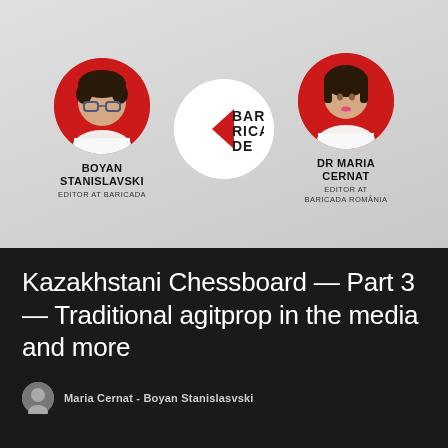[Figure (photo): Top banner with two circular profile photos (Boyan Stanislavski on left with red background, Dr Maria Cernat on right with red background) and Barricade logo in the center circle, on a light grey gradient background. Below each photo are name and title labels.]
Kazakhstani Chessboard — Part 3 — Traditional agitprop in the media and more
Maria Cernat - Boyan Stanislasvski